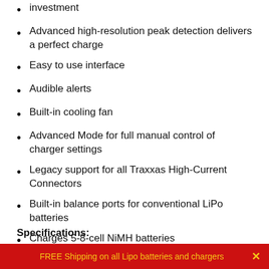investment
Advanced high-resolution peak detection delivers a perfect charge
Easy to use interface
Audible alerts
Built-in cooling fan
Advanced Mode for full manual control of charger settings
Legacy support for all Traxxas High-Current Connectors
Built-in balance ports for conventional LiPo batteries
Charges 5-8-cell NiMH batteries
Charges 2S and 3S LiPo batteries
Specifications:
FREE Shipping on all Lipo batteries and chargers